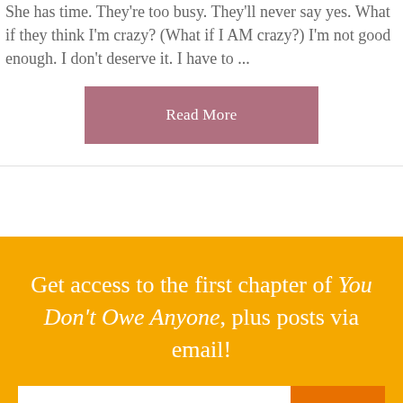She has time. They're too busy. They'll never say yes. What if they think I'm crazy? (What if I AM crazy?) I'm not good enough. I don't deserve it. I have to ...
Read More
Get access to the first chapter of You Don't Owe Anyone, plus posts via email!